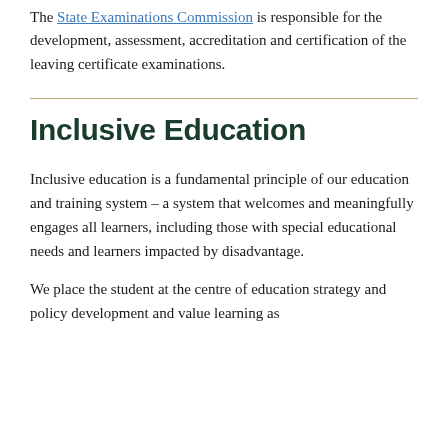The State Examinations Commission is responsible for the development, assessment, accreditation and certification of the leaving certificate examinations.
Inclusive Education
Inclusive education is a fundamental principle of our education and training system – a system that welcomes and meaningfully engages all learners, including those with special educational needs and learners impacted by disadvantage.
We place the student at the centre of education strategy and policy development and value learning as